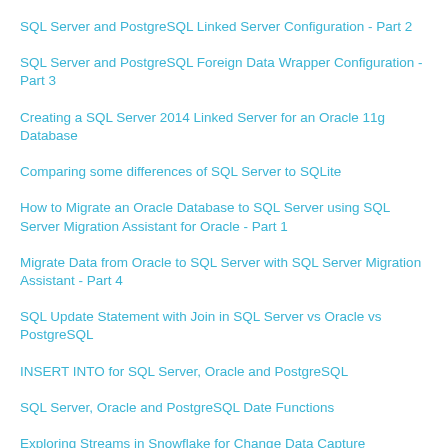SQL Server and PostgreSQL Linked Server Configuration - Part 2
SQL Server and PostgreSQL Foreign Data Wrapper Configuration - Part 3
Creating a SQL Server 2014 Linked Server for an Oracle 11g Database
Comparing some differences of SQL Server to SQLite
How to Migrate an Oracle Database to SQL Server using SQL Server Migration Assistant for Oracle - Part 1
Migrate Data from Oracle to SQL Server with SQL Server Migration Assistant - Part 4
SQL Update Statement with Join in SQL Server vs Oracle vs PostgreSQL
INSERT INTO for SQL Server, Oracle and PostgreSQL
SQL Server, Oracle and PostgreSQL Date Functions
Exploring Streams in Snowflake for Change Data Capture
Time zones in SQL Server, Oracle and PostgreSQL